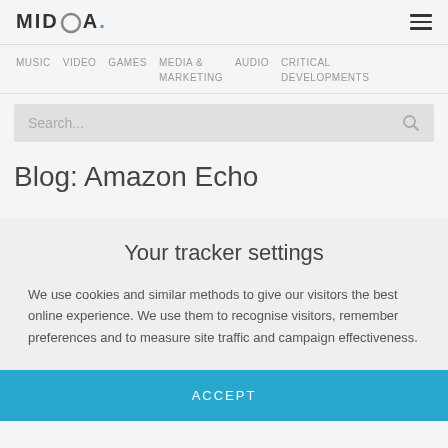MIDIA
MUSIC
VIDEO
GAMES
MEDIA & MARKETING
AUDIO
CRITICAL DEVELOPMENTS
Your tracker settings
We use cookies and similar methods to give our visitors the best online experience. We use them to recognise visitors, remember preferences and to measure site traffic and campaign effectiveness.
ACCEPT